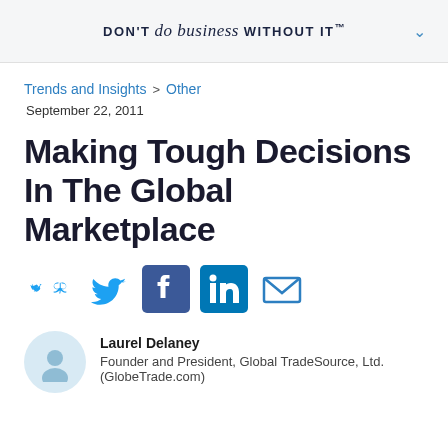DON'T do business WITHOUT IT™
Trends and Insights > Other
September 22, 2011
Making Tough Decisions In The Global Marketplace
[Figure (other): Social share icons: Twitter, Facebook, LinkedIn, Email]
[Figure (other): Author avatar placeholder circle]
Laurel Delaney
Founder and President, Global TradeSource, Ltd. (GlobeTrade.com)